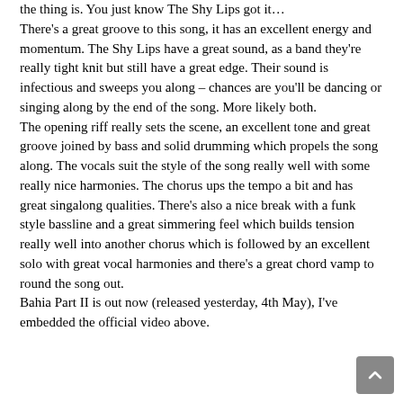the thing is. You just know The Shy Lips got it… There's a great groove to this song, it has an excellent energy and momentum. The Shy Lips have a great sound, as a band they're really tight knit but still have a great edge. Their sound is infectious and sweeps you along – chances are you'll be dancing or singing along by the end of the song. More likely both. The opening riff really sets the scene, an excellent tone and great groove joined by bass and solid drumming which propels the song along. The vocals suit the style of the song really well with some really nice harmonies. The chorus ups the tempo a bit and has great singalong qualities. There's also a nice break with a funk style bassline and a great simmering feel which builds tension really well into another chorus which is followed by an excellent solo with great vocal harmonies and there's a great chord vamp to round the song out. Bahia Part II is out now (released yesterday, 4th May), I've embedded the official video above.